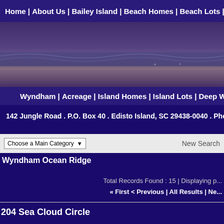Home | About Us | Bailey Island | Beach Homes | Beach Lots | Commercial L...
[Figure (photo): Beach scene with ocean waves, sandy shore and sky, purple-tinted banner image]
Wyndham | Acreage | Island Homes | Island Lots | Deep Water...
142 Jungle Road . P.O. Box 40 . Edisto Island, SC 29438-0040 . Pho...
Choose a Main Category    New Search
Wyndham Ocean Ridge
Total Records Found : 15 | Displaying p...
« First < Previous | All Results | Ne...
204 Sea Cloud Circle